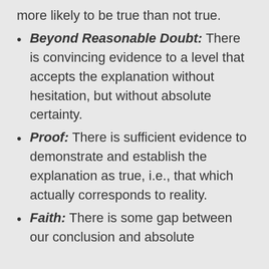more likely to be true than not true.
Beyond Reasonable Doubt: There is convincing evidence to a level that accepts the explanation without hesitation, but without absolute certainty.
Proof: There is sufficient evidence to demonstrate and establish the explanation as true, i.e., that which actually corresponds to reality.
Faith: There is some gap between our conclusion and absolute